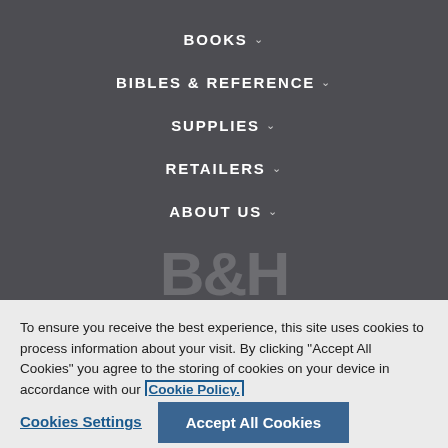BOOKS ∨
BIBLES & REFERENCE ∨
SUPPLIES ∨
RETAILERS ∨
ABOUT US ∨
[Figure (logo): B&H logo watermark text in large grey letters at bottom of dark nav section]
To ensure you receive the best experience, this site uses cookies to process information about your visit. By clicking "Accept All Cookies" you agree to the storing of cookies on your device in accordance with our Cookie Policy.
Cookies Settings
Accept All Cookies